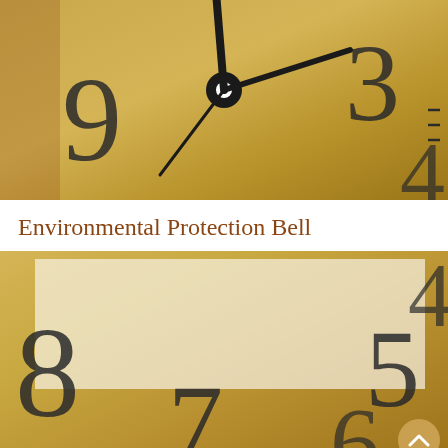[Figure (photo): Close-up photo of a gold/brass clock face showing numbers 9, 3, 4 and black clock hands in the center]
Environmental Protection Bell
[Figure (photo): Close-up photo of a gold/brass clock face showing numbers 8, 7, 6, 5, 4 with a white/cream rectangular overlay in the upper left area]
Hauptseite  Produkte  (mail icon)  Kontakt  Nachrichten